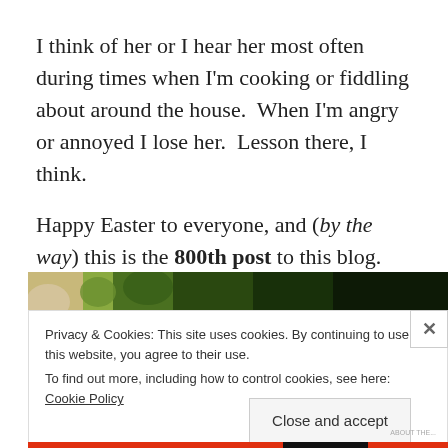I think of her or I hear her most often during times when I'm cooking or fiddling about around the house.  When I'm angry or annoyed I lose her.  Lesson there, I think.
Happy Easter to everyone, and (by the way) this is the 800th post to this blog.
[Figure (photo): Partial photograph showing foliage and dark background, partially obscured by cookie consent overlay]
Privacy & Cookies: This site uses cookies. By continuing to use this website, you agree to their use.
To find out more, including how to control cookies, see here: Cookie Policy